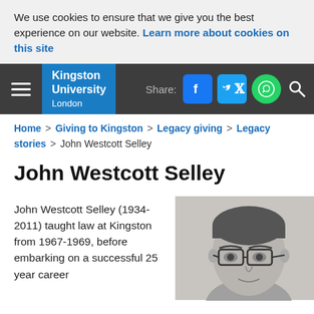We use cookies to ensure that we give you the best experience on our website. Learn more about cookies on this site
Kingston University London | Share: [Facebook] [Twitter] [WhatsApp] [Search]
Home > Giving to Kingston > Legacy giving > Legacy stories > John Westcott Selley
John Westcott Selley
John Westcott Selley (1934-2011) taught law at Kingston from 1967-1969, before embarking on a successful 25 year career
[Figure (photo): Black and white portrait photograph of John Westcott Selley, a man wearing glasses]